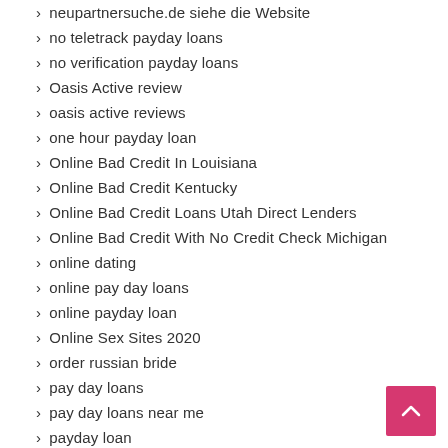neupartnersuche.de siehe die Website
no teletrack payday loans
no verification payday loans
Oasis Active review
oasis active reviews
one hour payday loan
Online Bad Credit In Louisiana
Online Bad Credit Kentucky
Online Bad Credit Loans Utah Direct Lenders
Online Bad Credit With No Credit Check Michigan
online dating
online pay day loans
online payday loan
Online Sex Sites 2020
order russian bride
pay day loans
pay day loans near me
payday loan